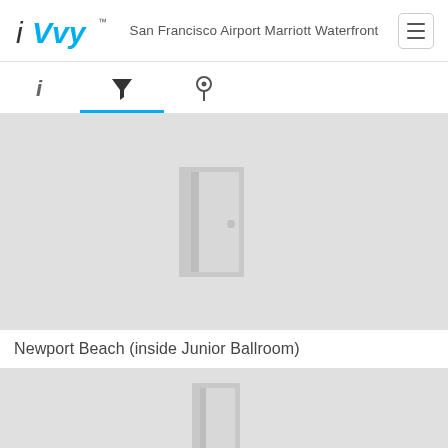[Figure (screenshot): iVvy logo with stylized italic 'i' in dark and 'Vvy' in cyan/blue color with trademark symbol]
San Francisco Airport Marriott Waterfront
[Figure (other): Hamburger menu button with three horizontal lines inside a rounded rectangle border]
[Figure (other): Navigation tab bar with three icons: info (i), filter funnel (active, highlighted with blue underline), and location pin]
[Figure (other): Gray placeholder image area with a light gray open door icon in the center]
Newport Beach (inside Junior Ballroom)
[Figure (other): Gray placeholder image area partially visible with a light gray open door icon]